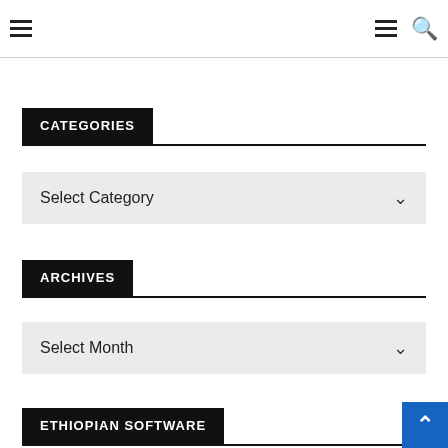Navigation bar with hamburger menu icons and search icon
CATEGORIES
Select Category
ARCHIVES
Select Month
ETHIOPIAN SOFTWARE